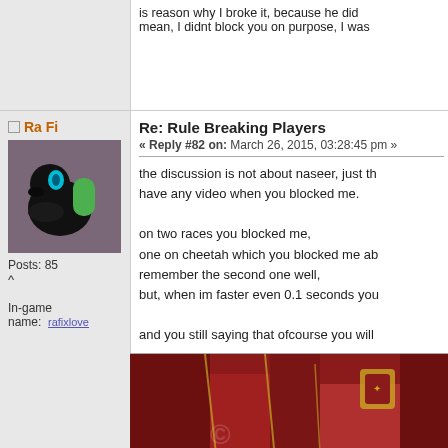is reason why I broke it, because he did mean, I didnt block you on purpose, I was
Re: Rule Breaking Players
« Reply #82 on: March 26, 2015, 03:28:45 pm »
[Figure (illustration): Forum avatar: stylized black bird/creature with cyan eye and green shape on dark purple/grey background]
Posts: 85
^
In-game name: rafixlove
the discussion is not about naseer, just th have any video when you blocked me.

on two races you blocked me,
one on cheetah which you blocked me ab remember the second one well,
but, when im faster even 0.1 seconds you

and you still saying that ofcourse you will
[Figure (photo): Partial image of a person in ornate red and gold clothing/costume, with decorative fabric and accessories visible]